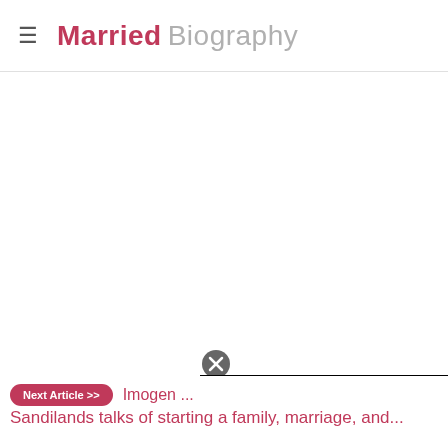Married Biography
[Figure (screenshot): Video player overlay with close (X) button and black background showing 'Fly over 63 provin...' with a play button]
Next Article >>  Imogen ... Sandilands talks of starting a family, marriage, and...